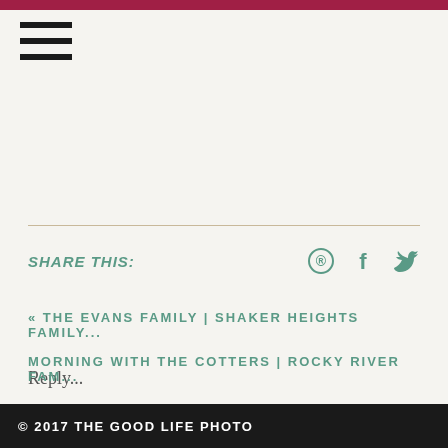[Figure (other): Hamburger menu icon with three horizontal lines]
SHARE THIS:
Reply...
« THE EVANS FAMILY | SHAKER HEIGHTS FAMILY...
MORNING WITH THE COTTERS | ROCKY RIVER FAM...
© 2017 THE GOOD LIFE PHOTO